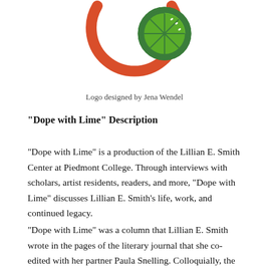[Figure (logo): Circular logo with a red arc on the left and a green lime slice on the upper right, designed by Jena Wendel]
Logo designed by Jena Wendel
“Dope with Lime” Description
“Dope with Lime” is a production of the Lillian E. Smith Center at Piedmont College. Through interviews with scholars, artist residents, readers, and more, “Dope with Lime” discusses Lillian E. Smith’s life, work, and continued legacy.
“Dope with Lime” was a column that Lillian E. Smith wrote in the pages of the literary journal that she co-edited with her partner Paula Snelling. Colloquially, the phrase referred to cutting the